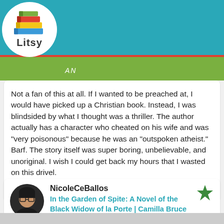[Figure (screenshot): Litsy app navigation bar with logo, home, search, add, notification, and profile icons on teal background with yellow, red, and green stripes]
Not a fan of this at all. If I wanted to be preached at, I would have picked up a Christian book. Instead, I was blindsided by what I thought was a thriller. The author actually has a character who cheated on his wife and was "very poisonous" because he was an "outspoken atheist." Barf. The story itself was super boring, unbelievable, and unoriginal. I wish I could get back my hours that I wasted on this drivel.
19 likes
NicoleCeBallos
In the Garden of Spite: A Novel of the Black Widow of la Porte | Camilla Bruce